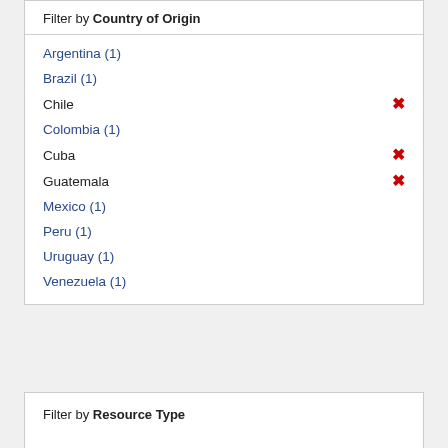Filter by Country of Origin
Argentina (1)
Brazil (1)
Chile
Colombia (1)
Cuba
Guatemala
Mexico (1)
Peru (1)
Uruguay (1)
Venezuela (1)
Filter by Resource Type